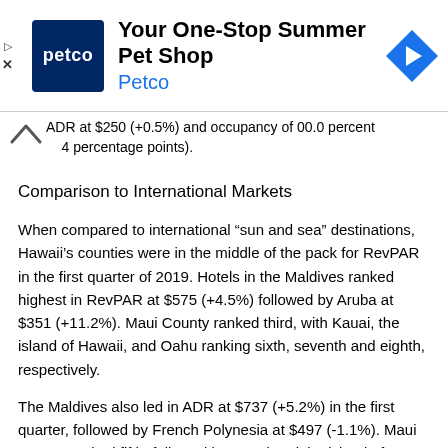[Figure (screenshot): Petco advertisement banner: 'Your One-Stop Summer Pet Shop' with Petco logo and navigation icon]
ADR at $250 (+0.5%) and occupancy of 00.0 percent (... 4 percentage points).
Comparison to International Markets
When compared to international “sun and sea” destinations, Hawaii’s counties were in the middle of the pack for RevPAR in the first quarter of 2019. Hotels in the Maldives ranked highest in RevPAR at $575 (+4.5%) followed by Aruba at $351 (+11.2%). Maui County ranked third, with Kauai, the island of Hawaii, and Oahu ranking sixth, seventh and eighth, respectively.
The Maldives also led in ADR at $737 (+5.2%) in the first quarter, followed by French Polynesia at $497 (-1.1%). Maui County ranked fifth, followed by Kauai and the island of